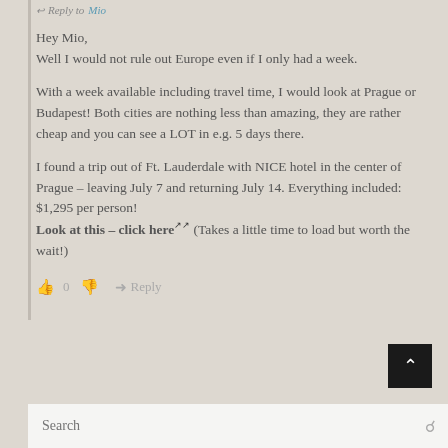Reply to Mio
Hey Mio,
Well I would not rule out Europe even if I only had a week.
With a week available including travel time, I would look at Prague or Budapest! Both cities are nothing less than amazing, they are rather cheap and you can see a LOT in e.g. 5 days there.
I found a trip out of Ft. Lauderdale with NICE hotel in the center of Prague – leaving July 7 and returning July 14. Everything included: $1,295 per person!
Look at this – click here↗↗ (Takes a little time to load but worth the wait!)
👍 0 👎 → Reply
Search